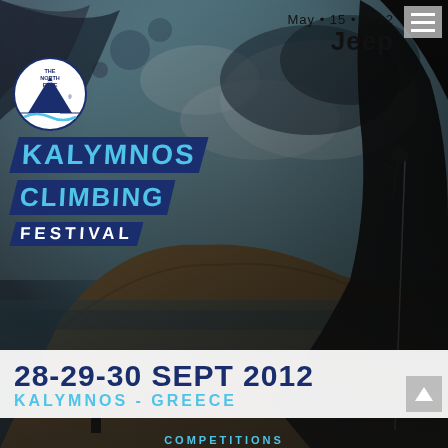[Figure (photo): Rock climbing festival promotional poster. Background shows a dramatic photo of a rock climber silhouetted on an overhang against a sky with mountains and sea below. The image is dark with warm tones showing Kalymnos island landscape. A silhouetted figure stands at the bottom left.]
May • 15 • 2012
Jeep
THE NORTH FACE KALYMNOS CLIMBING FESTIVAL
28-29-30 SEPT 2012
KALYMNOS - GREECE
COMPETITIONS